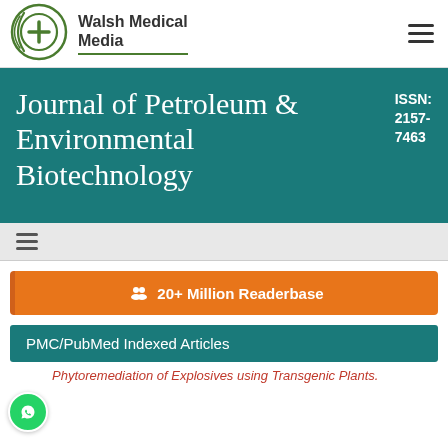[Figure (logo): Walsh Medical Media logo: circular green icon with a plus sign, with spiral/swoosh marks around it]
Walsh Medical Media
Journal of Petroleum & Environmental Biotechnology
ISSN: 2157-7463
[Figure (other): Hamburger navigation menu icon (three horizontal lines)]
20+ Million Readerbase
PMC/PubMed Indexed Articles
Phytoremediation of Explosives using Transgenic Plants.